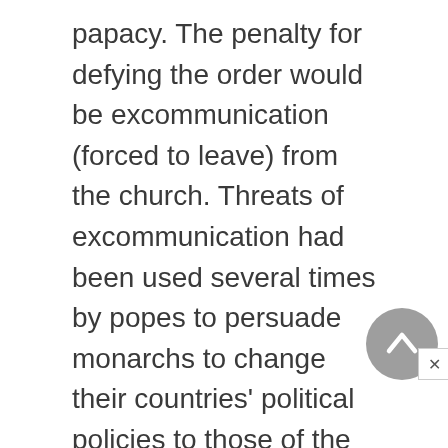papacy. The penalty for defying the order would be excommunication (forced to leave) from the church. Threats of excommunication had been used several times by popes to persuade monarchs to change their countries' political policies to those of the church. By the late thirteenth century, however, such threats carried less weight. Because the monarchs were supported by their nobles, Philip and Edward both refused to give in to Boniface's demands. The pope